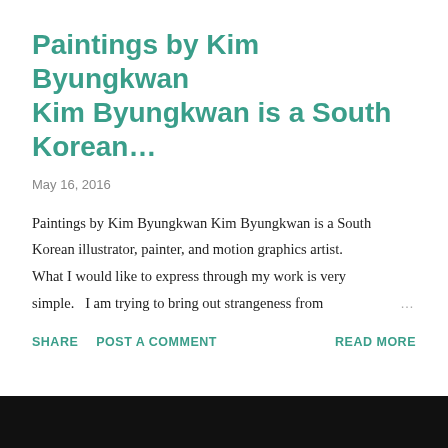Paintings by Kim Byungkwan Kim Byungkwan is a South Korean…
May 16, 2016
Paintings by Kim Byungkwan Kim Byungkwan is a South Korean illustrator, painter, and motion graphics artist. What I would like to express through my work is very simple.   I am trying to bring out strangeness from …
SHARE   POST A COMMENT   READ MORE
[Figure (photo): Dark/black image strip at the bottom of the page, partially cropped]